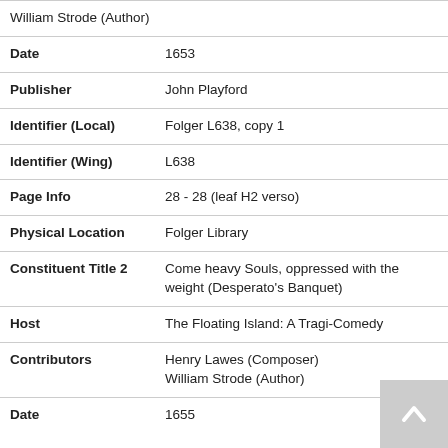| Field | Value |
| --- | --- |
| William Strode (Author) |  |
| Date | 1653 |
| Publisher | John Playford |
| Identifier (Local) | Folger L638, copy 1 |
| Identifier (Wing) | L638 |
| Page Info | 28 - 28 (leaf H2 verso) |
| Physical Location | Folger Library |
| Constituent Title 2 | Come heavy Souls, oppressed with the weight (Desperato's Banquet) |
| Host | The Floating Island: A Tragi-Comedy |
| Contributors | Henry Lawes (Composer)
William Strode (Author) |
| Date | 1655 |